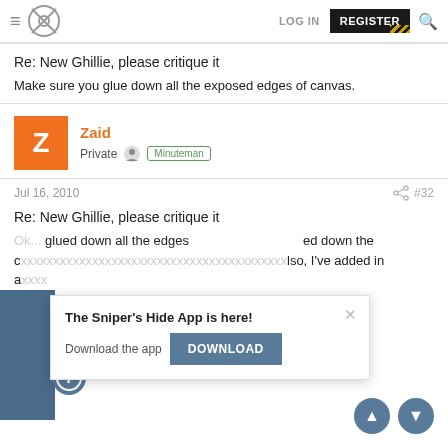LOG IN | REGISTER
Re: New Ghillie, please critique it
Make sure you glue down all the exposed edges of canvas.
Zaid • Private • Minuteman
Jul 16, 2010 #32
Re: New Ghillie, please critique it
Ok... glued down all the edges and ... ed down the c... Also, I've added in a...
[Figure (screenshot): App download popup: 'The Sniper's Hide App is here!' with DOWNLOAD button and close X]
[Figure (other): Info circle icon and navigation up/down circles]